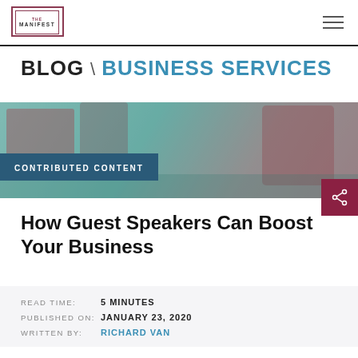THE MANIFEST
BLOG \ BUSINESS SERVICES
[Figure (photo): Hero image showing people in a business/speaking context with teal and red tones, overlaid with a 'CONTRIBUTED CONTENT' badge.]
How Guest Speakers Can Boost Your Business
READ TIME: 5 MINUTES
PUBLISHED ON: JANUARY 23, 2020
WRITTEN BY: RICHARD VAN